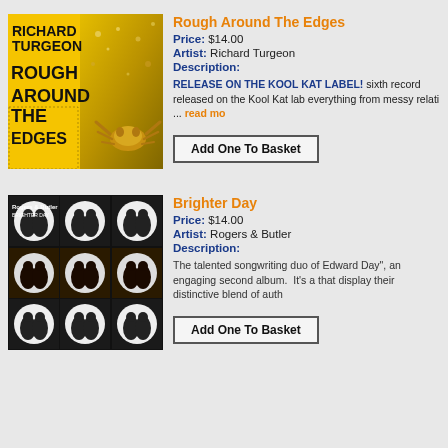[Figure (photo): Album cover for Richard Turgeon - Rough Around The Edges. Yellow background with bold black text on left half, golden splatter texture on right half.]
Rough Around The Edges
Price: $14.00
Artist: Richard Turgeon
Description:
RELEASE ON THE KOOL KAT LABEL! sixth record released on the Kool Kat lab everything from messy relati ... read more
Add One To Basket
[Figure (photo): Album cover for Rogers & Butler - Brighter Day. Dark background with grid of silhouette figures inside circular frames.]
Brighter Day
Price: $14.00
Artist: Rogers & Butler
Description:
The talented songwriting duo of Edward Day", an engaging second album. It's a that display their distinctive blend of auth
Add One To Basket